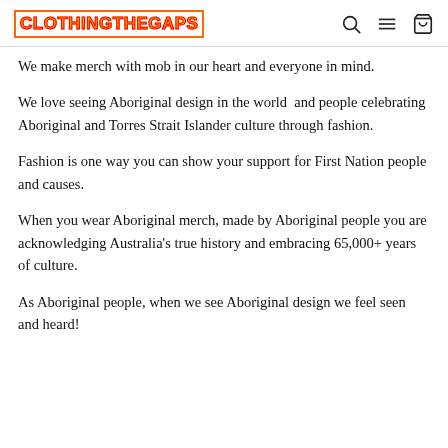CLOTHINGTHEGAPS
We make merch with mob in our heart and everyone in mind.
We love seeing Aboriginal design in the world and people celebrating Aboriginal and Torres Strait Islander culture through fashion.
Fashion is one way you can show your support for First Nation people and causes.
When you wear Aboriginal merch, made by Aboriginal people you are acknowledging Australia's true history and embracing 65,000+ years of culture.
As Aboriginal people, when we see Aboriginal design we feel seen and heard!